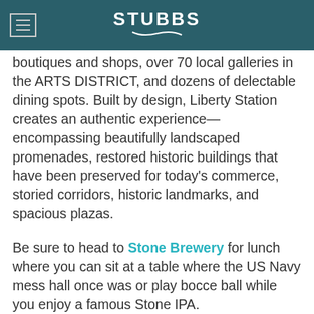STUBBS
discovering and exploring all of Liberty Station's offerings. The neighborhood features an array of boutiques and shops, over 70 local galleries in the ARTS DISTRICT, and dozens of delectable dining spots. Built by design, Liberty Station creates an authentic experience—encompassing beautifully landscaped promenades, restored historic buildings that have been preserved for today's commerce, storied corridors, historic landmarks, and spacious plazas.
Be sure to head to Stone Brewery for lunch where you can sit at a table where the US Navy mess hall once was or play bocce ball while you enjoy a famous Stone IPA.
Visit Liberty Station
Fun Fact! During the 1920s there was a dirt airstrip known as Dutch Flats in what is now the Midway